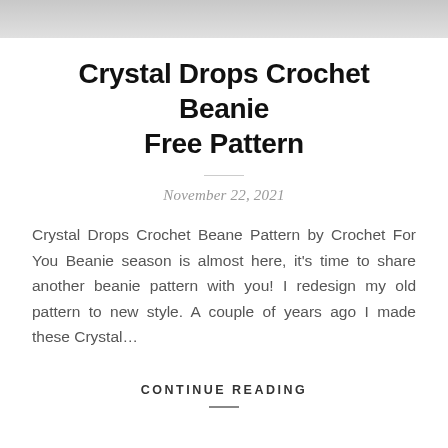[Figure (photo): Partial photo visible at top of page, cropped, light background]
Crystal Drops Crochet Beanie Free Pattern
November 22, 2021
Crystal Drops Crochet Beane Pattern by Crochet For You Beanie season is almost here, it's time to share another beanie pattern with you! I redesign my old pattern to new style. A couple of years ago I made these Crystal…
CONTINUE READING